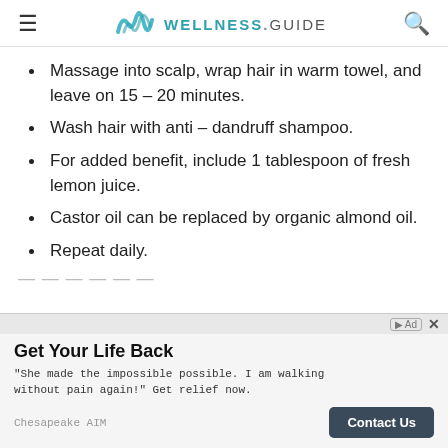WELLNESS.GUIDE
Massage into scalp, wrap hair in warm towel, and leave on 15 – 20 minutes.
Wash hair with anti – dandruff shampoo.
For added benefit, include 1 tablespoon of fresh lemon juice.
Castor oil can be replaced by organic almond oil.
Repeat daily.
[Figure (screenshot): Advertisement banner: 'Get Your Life Back' - Chesapeake AIM with Contact Us button]